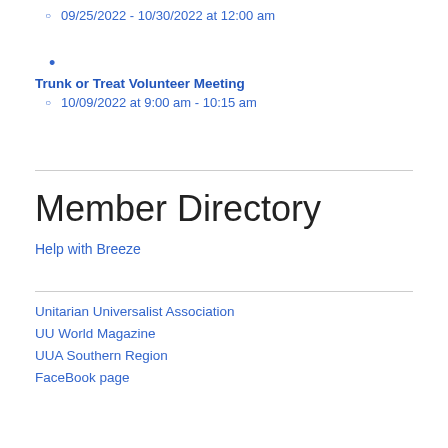09/25/2022 - 10/30/2022 at 12:00 am
•
Trunk or Treat Volunteer Meeting
10/09/2022 at 9:00 am - 10:15 am
Member Directory
Help with Breeze
Unitarian Universalist Association
UU World Magazine
UUA Southern Region
FaceBook page